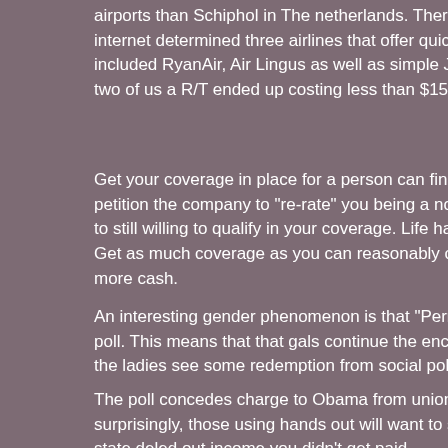airports than Schiphol in The netherlands. Therefore you w internet determined three airlines that offer quick and inex included RyanAir, Air Lingus as well as simple Jet. We opt two of us a R/T ended up costing less than $150 complete
Get your coverage in place for a person can find the funds petition the company to "re-rate" you being a non-smoker to still willing to qualify in your coverage. Life happens and Get as much coverage as you can reasonably cash. The c more cash.
An interesting gender phenomenon is that "Perry leads by poll. This means that that gals continue the enchantment the ladies see some redemption from social policies that t
The poll concedes charge to Obama from union members surprisingly, those using hands out will want to support he state deled out income you didn't get paid.